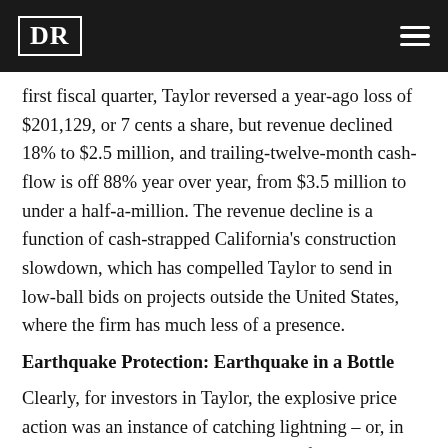DR
first fiscal quarter, Taylor reversed a year-ago loss of $201,129, or 7 cents a share, but revenue declined 18% to $2.5 million, and trailing-twelve-month cash-flow is off 88% year over year, from $3.5 million to under a half-a-million. The revenue decline is a function of cash-strapped California's construction slowdown, which has compelled Taylor to send in low-ball bids on projects outside the United States, where the firm has much less of a presence.
Earthquake Protection: Earthquake in a Bottle
Clearly, for investors in Taylor, the explosive price action was an instance of catching lightning – or, in this case, an earthquake – in a bottle. If only there